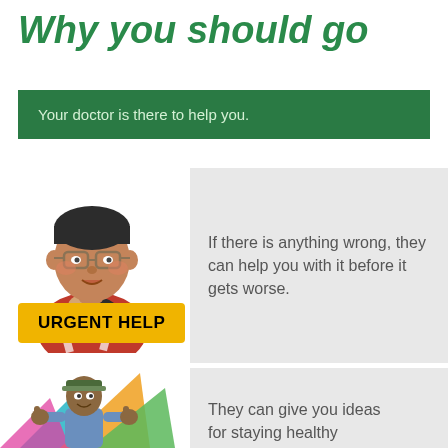Why you should go
Your doctor is there to help you.
[Figure (photo): Photo of a man with glasses touching his throat, with a yellow label reading URGENT HELP]
If there is anything wrong, they can help you with it before it gets worse.
[Figure (photo): Photo of a man giving thumbs up in front of colourful geometric shapes]
They can give you ideas for staying healthy